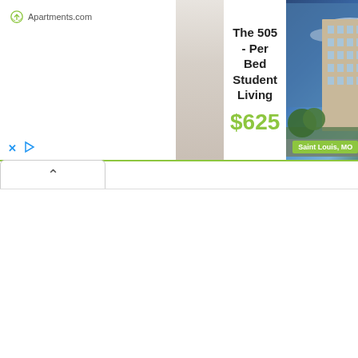[Figure (screenshot): Apartments.com advertisement banner showing 'The 505 - Per Bed Student Living' at $625, with a photo of a modern apartment building in Saint Louis, MO, and a partially visible second listing starting with 'Ci' and '$'. Controls for closing (X) and playing are visible at the bottom left.]
^